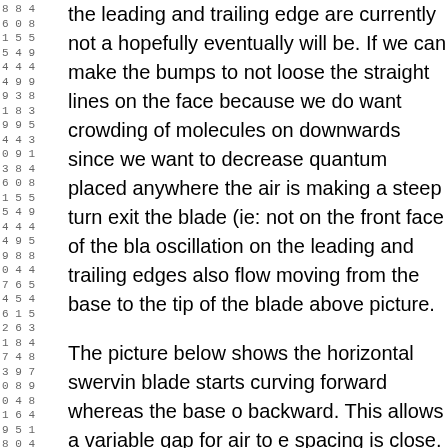the leading and trailing edge are currently not a hopefully eventually will be. If we can make the bumps to not loose the straight lines on the face because we do want crowding of molecules on downwards since we want to decrease quantum placed anywhere the air is making a steep turn exit the blade (ie: not on the front face of the blade oscillation on the leading and trailing edges also flow moving from the base to the tip of the blade above picture.
The picture below shows the horizontal swerving blade starts curving forward whereas the base backward. This allows a variable gap for air to spacing is close. Another thing the below picture sweep of the blades (blue line is straight out, re deg.)). The base of the blades are all equally swept forward and other blades are swept back